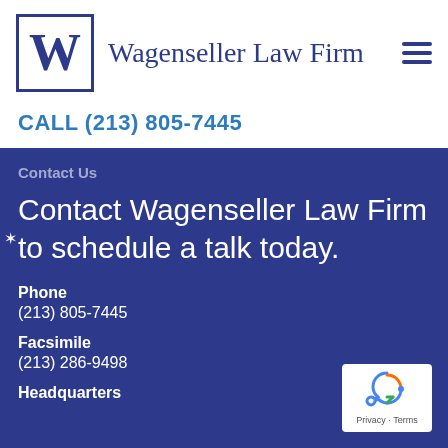[Figure (logo): Wagenseller Law Firm logo: blue bordered box with large W letter, followed by firm name text]
CALL (213) 805-7445
Contact Us
Contact Wagenseller Law Firm to schedule a talk today.
Phone
(213) 805-7445
Facsimile
(213) 286-9498
Headquarters